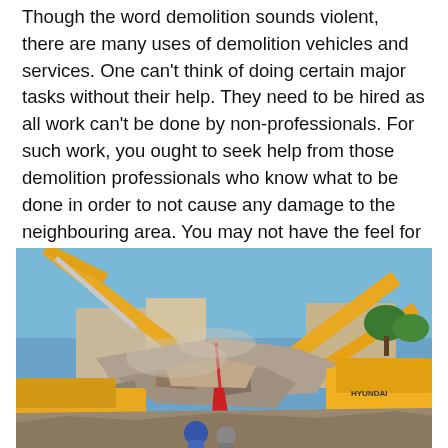Though the word demolition sounds violent, there are many uses of demolition vehicles and services. One can't think of doing certain major tasks without their help. They need to be hired as all work can't be done by non-professionals. For such work, you ought to seek help from those demolition professionals who know what to be done in order to not cause any damage to the neighbouring area. You may not have the feel for hiring them now but you may need them in future and know when to contact them will be a great help.
[Figure (photo): A demolition scene showing two large yellow excavators (one labeled L&T-Komatsu, one labeled Hyundai) demolishing a building. The structure is partially collapsed with rubble on the ground. A blue sky is visible in the background. Several people are visible near the bottom of the image.]